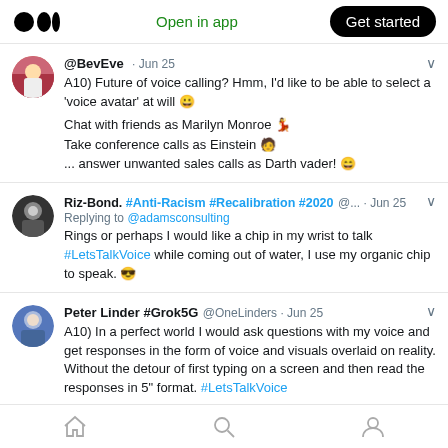Medium logo | Open in app | Get started
@BevEve · Jun 25
A10) Future of voice calling? Hmm, I'd like to be able to select a 'voice avatar' at will 😀

Chat with friends as Marilyn Monroe 💃
Take conference calls as Einstein 🧑‍🔬
... answer unwanted sales calls as Darth vader! 😄
Riz-Bond. #Anti-Racism #Recalibration #2020 @... · Jun 25
Replying to @adamsconsulting
Rings or perhaps I would like a chip in my wrist to talk #LetsTalkVoice while coming out of water, I use my organic chip to speak. 😎
Peter Linder #Grok5G @OneLinders · Jun 25
A10) In a perfect world I would ask questions with my voice and get responses in the form of voice and visuals overlaid on reality. Without the detour of first typing on a screen and then read the responses in 5" format. #LetsTalkVoice
Home | Search | Profile